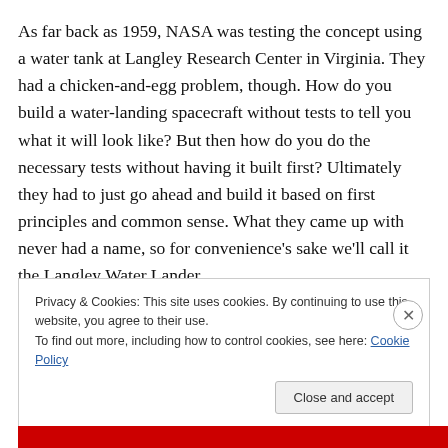As far back as 1959, NASA was testing the concept using a water tank at Langley Research Center in Virginia. They had a chicken-and-egg problem, though. How do you build a water-landing spacecraft without tests to tell you what it will look like? But then how do you do the necessary tests without having it built first? Ultimately they had to just go ahead and build it based on first principles and common sense. What they came up with never had a name, so for convenience's sake we'll call it the Langley Water Lander.
Privacy & Cookies: This site uses cookies. By continuing to use this website, you agree to their use.
To find out more, including how to control cookies, see here: Cookie Policy